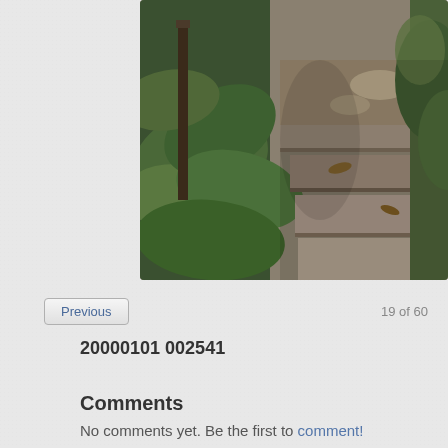[Figure (photo): Outdoor photograph showing stone steps with lush green tropical vegetation including large leafy plants on the left side, and a dirt/stone path with dappled sunlight and shadows. The scene appears to be a jungle or garden trail.]
Previous
19 of 60
20000101 002541
Comments
No comments yet. Be the first to comment!